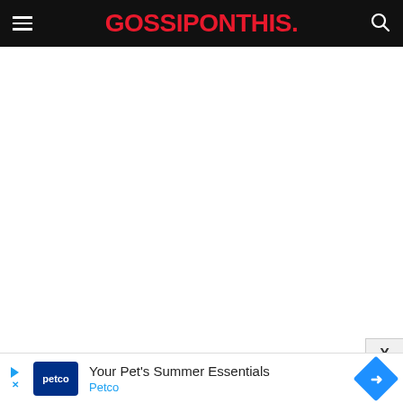GOSSIPONTHIS.
[Figure (screenshot): White blank content area below the navigation header]
[Figure (screenshot): Close (X) button overlay in bottom right area]
[Figure (screenshot): Petco advertisement banner: Your Pet's Summer Essentials - Petco, with Petco logo and navigation arrow icon]